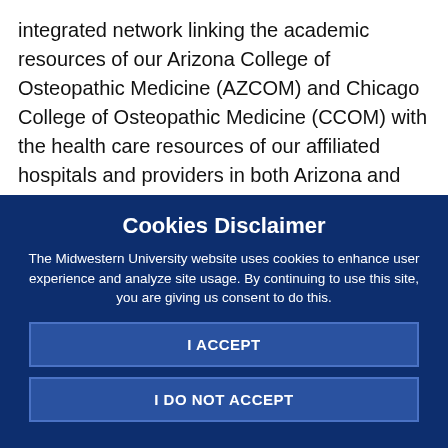integrated network linking the academic resources of our Arizona College of Osteopathic Medicine (AZCOM) and Chicago College of Osteopathic Medicine (CCOM) with the health care resources of our affiliated hospitals and providers in both Arizona and Illinois.
Each program highlights a mix of ambulatory and hospital settings together with specially coordinated educational
Cookies Disclaimer
The Midwestern University website uses cookies to enhance user experience and analyze site usage. By continuing to use this site, you are giving us consent to do this.
I ACCEPT
I DO NOT ACCEPT